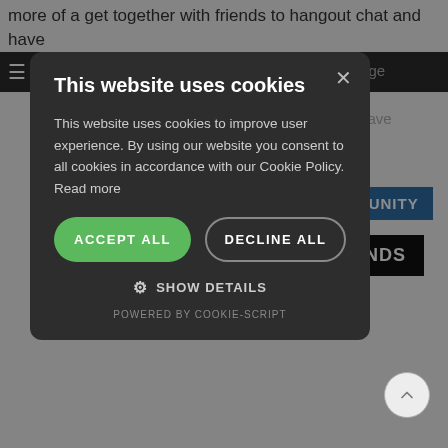more of a get together with friends to hangout chat and have
utube page
ectors, have
OMMUNITY
OUR FINDS
[Figure (screenshot): Cookie consent dialog overlay on a website. Dark modal with title 'This website uses cookies', body text about cookie policy, green 'ACCEPT ALL' button, outlined 'DECLINE ALL' button, gear icon 'SHOW DETAILS' link, and 'POWERED BY COOKIE-SCRIPT' footer.]